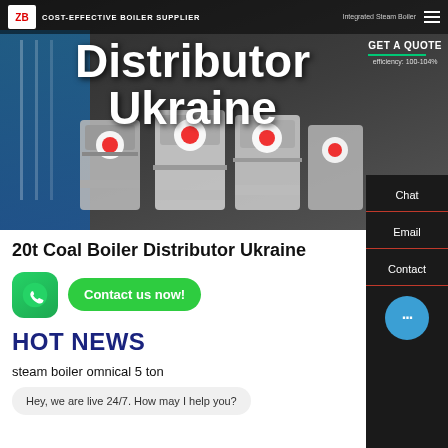[Figure (screenshot): Hero banner of a boiler supplier website showing industrial boilers in a dark-toned background with 'Distributor Ukraine' text overlay, logo bar with 'COST-EFFECTIVE BOILER SUPPLIER', and a GET A QUOTE button]
20t Coal Boiler Distributor Ukraine
[Figure (infographic): WhatsApp contact icon (green rounded square with phone icon) and a green 'Contact us now!' button]
HOT NEWS
steam boiler omnical 5 ton
[Figure (screenshot): Chat bubble saying 'Hey, we are live 24/7. How may I help you?' with a blue circular chat icon with three dots]